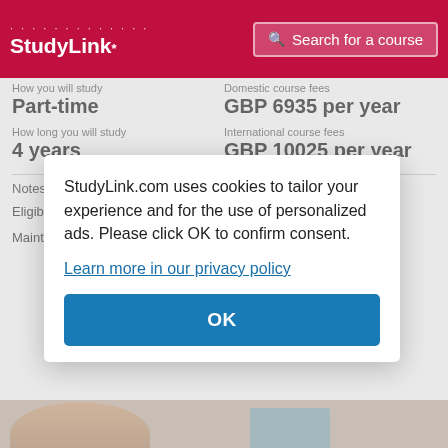StudyLink | Search for a course
How you will study
Part-time
Domestic course fees
GBP 6935 per year
How long you will study
4 years
International course fees
GBP 10025 per year
Notes about fees for this course
Eligible ... and the ... as gov...
Mainte... time ar... covering... travel,...
StudyLink.com uses cookies to tailor your experience and for the use of personalized ads. Please click OK to confirm consent.
Learn more in our privacy policy
OK